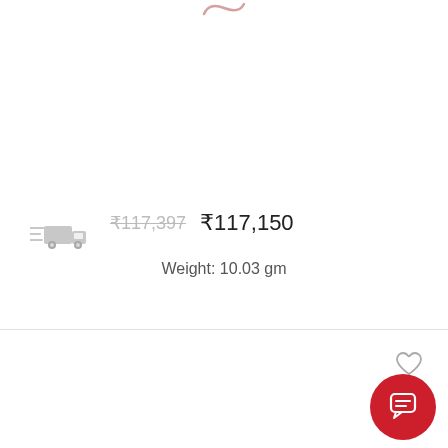[Figure (screenshot): E-commerce product listing screenshot showing price comparison and weight details with delivery icon, heart/wishlist icon, and chat support button]
₹117,397  ₹117,150
Weight: 10.03 gm